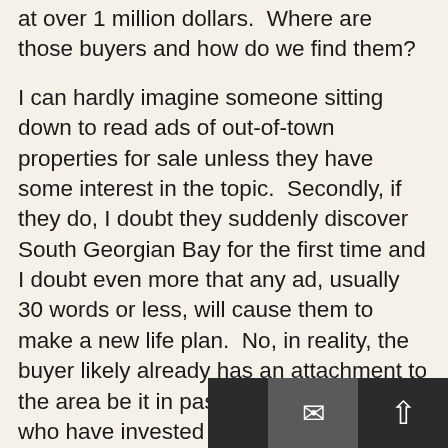at over 1 million dollars.  Where are those buyers and how do we find them?
I can hardly imagine someone sitting down to read ads of out-of-town properties for sale unless they have some interest in the topic.  Secondly, if they do, I doubt they suddenly discover South Georgian Bay for the first time and I doubt even more that any ad, usually 30 words or less, will cause them to make a new life plan.  No, in reality, the buyer likely already has an attachment to the area be it in past vacations, friends who have invested or moved here or maybe they already own property in the area.
This buyer is affluent and educated.  If they are in the market for a luxury home, the probability is extremely high that they will search on the internet for available [properties] to see what's out there.  They will visit the [sites and will likely ...